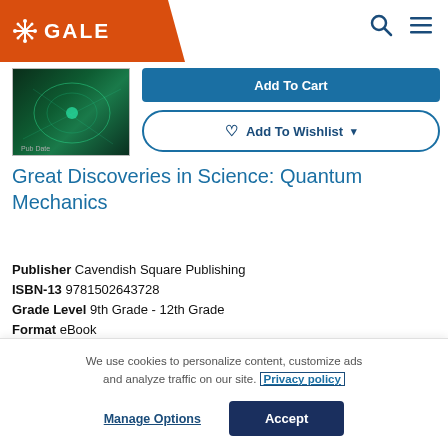GALE
[Figure (screenshot): Book cover thumbnail for Great Discoveries in Science: Quantum Mechanics, dark green background with abstract particle/wave imagery]
Add To Cart
♡ Add To Wishlist ▾
Great Discoveries in Science: Quantum Mechanics
Publisher Cavendish Square Publishing
ISBN-13 9781502643728
Grade Level 9th Grade - 12th Grade
Format eBook
We use cookies to personalize content, customize ads and analyze traffic on our site. Privacy policy
Manage Options
Accept